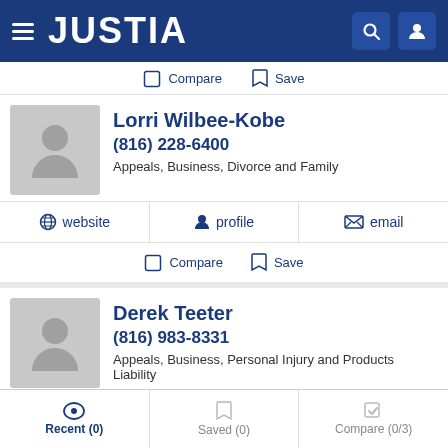JUSTIA
Compare   Save
Lorri Wilbee-Kobe
(816) 228-6400
Appeals, Business, Divorce and Family
website   profile   email
Compare   Save
Derek Teeter
(816) 983-8331
Appeals, Business, Personal Injury and Products Liability
website   profile
Recent (0)   Saved (0)   Compare (0/3)